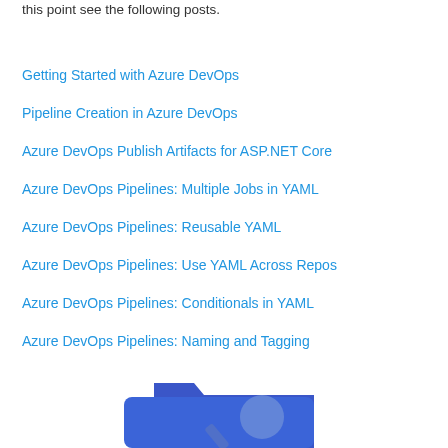this point see the following posts.
Getting Started with Azure DevOps
Pipeline Creation in Azure DevOps
Azure DevOps Publish Artifacts for ASP.NET Core
Azure DevOps Pipelines: Multiple Jobs in YAML
Azure DevOps Pipelines: Reusable YAML
Azure DevOps Pipelines: Use YAML Across Repos
Azure DevOps Pipelines: Conditionals in YAML
Azure DevOps Pipelines: Naming and Tagging
[Figure (illustration): Azure DevOps logo illustration with blue folder/shield shapes and a circular element]